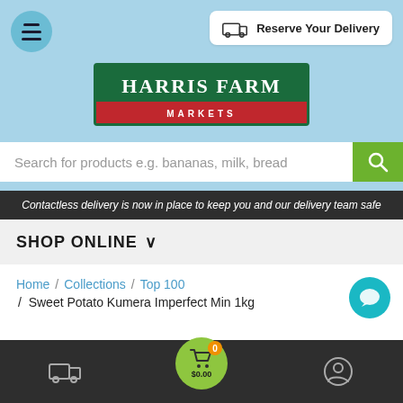[Figure (screenshot): Harris Farm Markets website header with menu button, Reserve Your Delivery button, logo, search bar, navigation banner, breadcrumb, and bottom navigation bar]
Reserve Your Delivery
Harris Farm Markets
Search for products e.g. bananas, milk, bread
Contactless delivery is now in place to keep you and our delivery team safe
SHOP ONLINE
Home / Collections / Top 100 / Sweet Potato Kumera Imperfect Min 1kg
$0.00